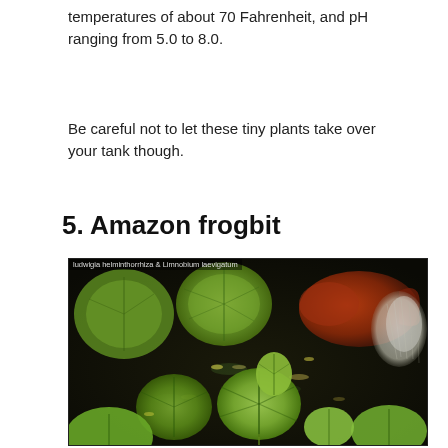temperatures of about 70 Fahrenheit, and pH ranging from 5.0 to 8.0.
Be careful not to let these tiny plants take over your tank though.
5. Amazon frogbit
[Figure (photo): Close-up photo of Amazon frogbit (Limnobium laevigatum) floating plants with round green leaves on water surface, with a fish visible in the background. Caption reads: ludwigia helminthorrhiza & Limnobium laevigatum]